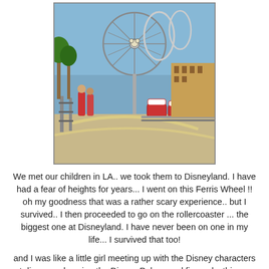[Figure (photo): Outdoor photo at a theme park (Disneyland/California Adventure) showing a roller coaster ride queue with orange-and-white cars on the track, a large Ferris wheel with a Mickey Mouse face in the background, blue sky, and people standing around.]
We met our children in LA.. we took them to Disneyland. I have had a fear of heights for years... I went on this Ferris Wheel !! oh my goodness that was a rather scary experience.. but I survived.. I then proceeded to go on the rollercoaster ... the biggest one at Disneyland. I have never been on one in my life... I survived that too!
and I was like a little girl meeting up with the Disney characters at dinner and seeing the Disney Palace and fireworks this was like a little girls dream come true for me.
I had a fantastic time with my other adopted children. A...